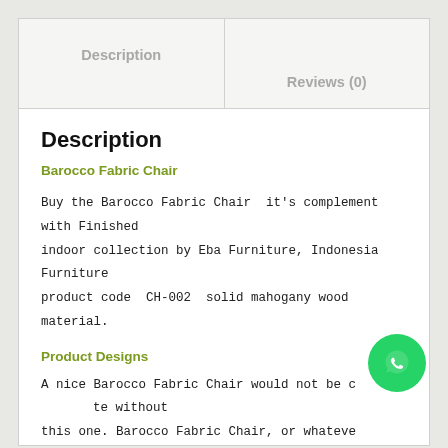Description
Reviews (0)
Description
Barocco Fabric Chair
Buy the Barocco Fabric Chair  it's complement with Finished indoor collection by Eba Furniture, Indonesia Furniture product code  CH-002  solid mahogany wood material.
Product Designs
A nice Barocco Fabric Chair would not be complete without this one. Barocco Fabric Chair, or whatever you want to call it. They are a nice addition to already exist indoor Indonesia